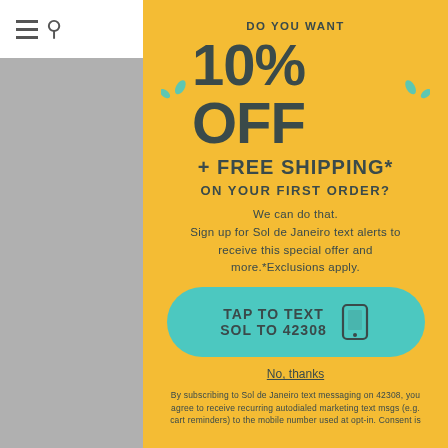Nav bar with hamburger menu and cart icon
DO YOU WANT 10% OFF + FREE SHIPPING*
ON YOUR FIRST ORDER?
We can do that. Sign up for Sol de Janeiro text alerts to receive this special offer and more.*Exclusions apply.
TAP TO TEXT SOL TO 42308
No, thanks
By subscribing to Sol de Janeiro text messaging on 42308, you agree to receive recurring autodialed marketing text msgs (e.g. cart reminders) to the mobile number used at opt-in. Consent is